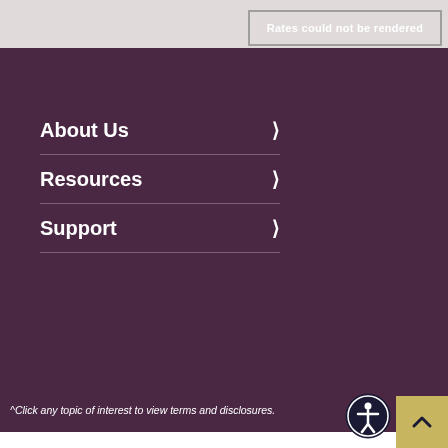Rates could not be rendered
About Us
Resources
Support
^Click any topic of interest to view terms and disclosures.